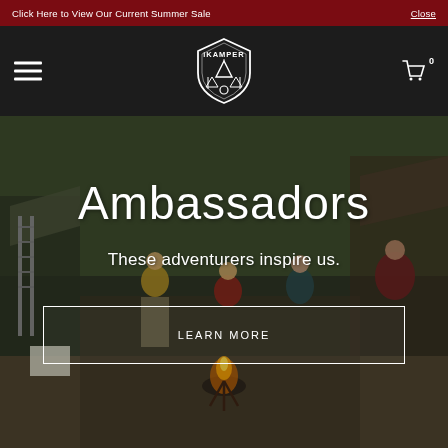Click Here to View Our Current Summer Sale
Close
[Figure (logo): iKamper brand logo — shield-shaped emblem with mountain/tree/vehicle motif in white]
Ambassadors
These adventurers inspire us.
LEARN MORE
[Figure (photo): Outdoor camping scene with people gathered around a fire pit, roof-top tents deployed on vehicles, forested background]